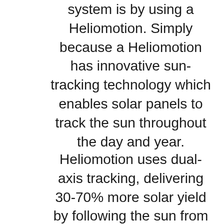system is by using a Heliomotion. Simply because a Heliomotion has innovative sun-tracking technology which enables solar panels to track the sun throughout the day and year.
Heliomotion uses dual-axis tracking, delivering 30-70% more solar yield by following the sun from sunrise to sunset. This is significantly more electricity than a traditional roof-